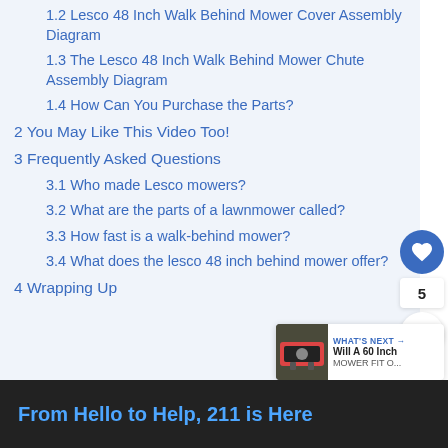1.2 Lesco 48 Inch Walk Behind Mower Cover Assembly Diagram
1.3 The Lesco 48 Inch Walk Behind Mower Chute Assembly Diagram
1.4 How Can You Purchase the Parts?
2 You May Like This Video Too!
3 Frequently Asked Questions
3.1 Who made Lesco mowers?
3.2 What are the parts of a lawnmower called?
3.3 How fast is a walk-behind mower?
3.4 What does the lesco 48 inch behind mower offer?
4 Wrapping Up
From Hello to Help, 211 is Here